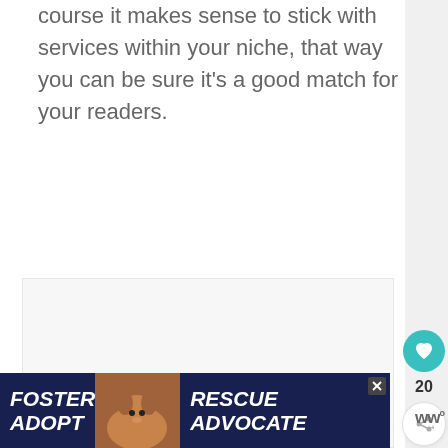course it makes sense to stick with services within your niche, that way you can be sure it's a good match for your readers.
[Figure (other): Empty placeholder content area with three dots indicating loading or ad content]
[Figure (other): Advertisement banner: FOSTER ADOPT with dog image, RESCUE ADVOCATE in dark blue/navy background]
20
ww°